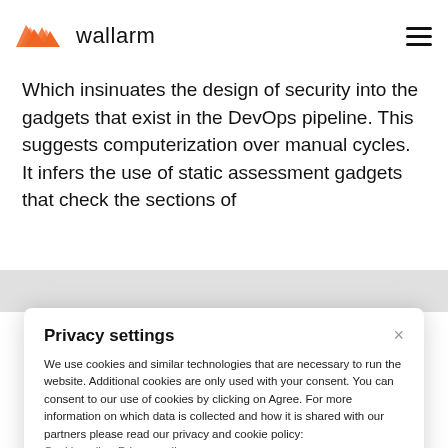wallarm
Which insinuates the design of security into the gadgets that exist in the DevOps pipeline. This suggests computerization over manual cycles. It infers the use of static assessment gadgets that check the sections of
Privacy settings
We use cookies and similar technologies that are necessary to run the website. Additional cookies are only used with your consent. You can consent to our use of cookies by clicking on Agree. For more information on which data is collected and how it is shared with our partners please read our privacy and cookie policy: Cookie policy, Privacy policy